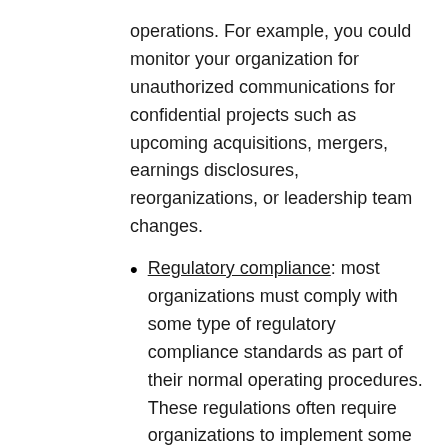operations. For example, you could monitor your organization for unauthorized communications for confidential projects such as upcoming acquisitions, mergers, earnings disclosures, reorganizations, or leadership team changes.
Regulatory compliance: most organizations must comply with some type of regulatory compliance standards as part of their normal operating procedures. These regulations often require organizations to implement some type of supervisory or oversight process for messaging that is appropriate for their industry. The Financial Industry Regulatory Authority (FINRA) Rule 3110 is a good example of a requirement for organizations to have supervisory procedures in place to monitor the activities of its employees and the types of businesses in which it engages. Another example may be a need to monitor broker-dealers in your